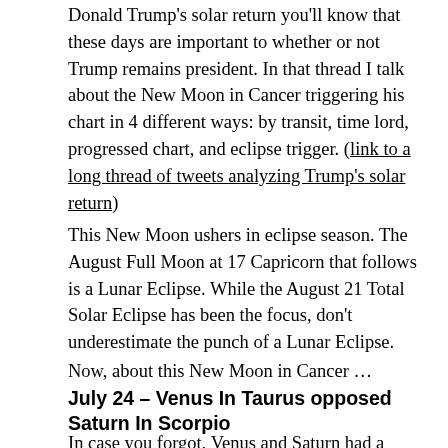Donald Trump's solar return you'll know that these days are important to whether or not Trump remains president. In that thread I talk about the New Moon in Cancer triggering his chart in 4 different ways: by transit, time lord, progressed chart, and eclipse trigger. (link to a long thread of tweets analyzing Trump's solar return)
This New Moon ushers in eclipse season. The August Full Moon at 17 Capricorn that follows is a Lunar Eclipse. While the August 21 Total Solar Eclipse has been the focus, don't underestimate the punch of a Lunar Eclipse.
Now, about this New Moon in Cancer …
July 24 – Venus In Taurus opposed Saturn In Scorpio
In case you forgot, Venus and Saturn had a series of